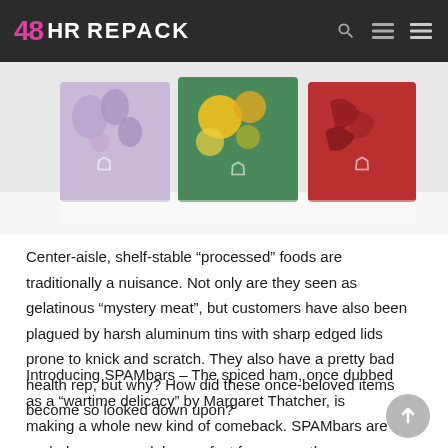48 HR REPACK
[Figure (photo): Colorful packaged food products (possibly soap or snack bars) with decorative floral/botanical patterns in purple, green, teal, and red, displayed on a reflective surface.]
Center-aisle, shelf-stable “processed” foods are traditionally a nuisance. Not only are they seen as gelatinous “mystery meat”, but customers have also been plagued by harsh aluminum tins with sharp edged lids prone to knick and scratch. They also have a pretty bad health rep, but why? How did these once-beloved items become so looked down upon?
Introducing SPAMbars – The spiced ham, once dubbed as a “wartime delicacy” by Margaret Thatcher, is making a whole new kind of comeback. SPAMbars are a wholesome snack bar perfect for any on-the-go lifestyle.